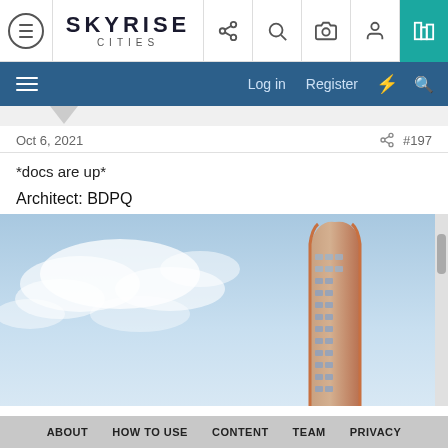SKYRISE CITIES — navigation header with icons
Log in  Register — secondary nav bar
Oct 6, 2021   #197
*docs are up*
Architect: BDPQ
[Figure (photo): Architectural rendering of a modern high-rise building with curved copper/bronze facade and glass windows against a cloudy blue sky]
ABOUT  HOW TO USE  CONTENT  TEAM  PRIVACY